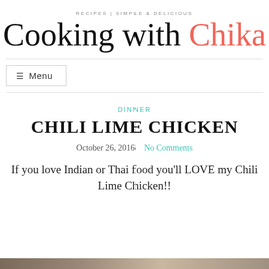RECIPES | SIMPLE & DELICIOUS
Cooking with Chika
☰ Menu
DINNER
CHILI LIME CHICKEN
October 26, 2016  No Comments
If you love Indian or Thai food you'll LOVE my Chili Lime Chicken!!
[Figure (photo): Bottom strip showing food image]